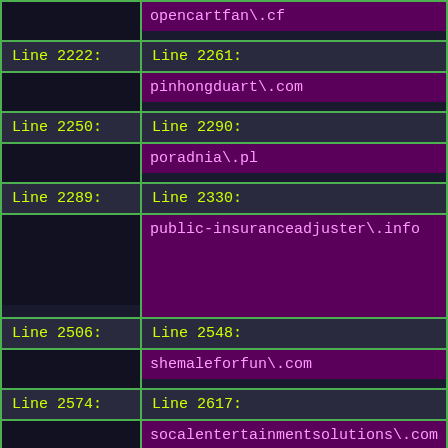| Left (Line) | Right (Line + Domain) |
| --- | --- |
|  | opencartfan\.cf |
| Line 2222: | Line 2261: |
|  | pinhongduart\.com |
| Line 2250: | Line 2290: |
|  | poradnia\.pl |
| Line 2289: | Line 2330: |
|  | public-insuranceadjuster\.info |
| Line 2506: | Line 2548: |
|  | shemaleforfun\.com |
| Line 2574: | Line 2617: |
|  | socalentertainmentsolutions\.com |
| Line 2627: | Line 2671: |
|  | steam-wallet-hack\.com |
| Line 2633: | Line 2678: |